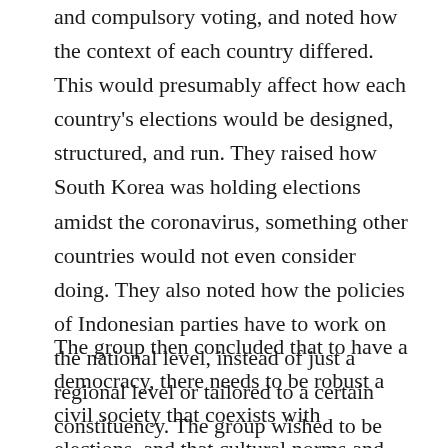and compulsory voting, and noted how the context of each country differed. This would presumably affect how each country's elections would be designed, structured, and run. They raised how South Korea was holding elections amidst the coronavirus, something other countries would not even consider doing. They also noted how the policies of Indonesian parties have to work on the national level, instead of just a regional level or tailored to a certain constituency. The group wished to be able to go more in-depth into questions concerning short-term election cycles versus long-term issues.
The group then concluded that to have a democracy, there needs to be robust a civil society that coexists with elections, and that cultural norms and attitudes must